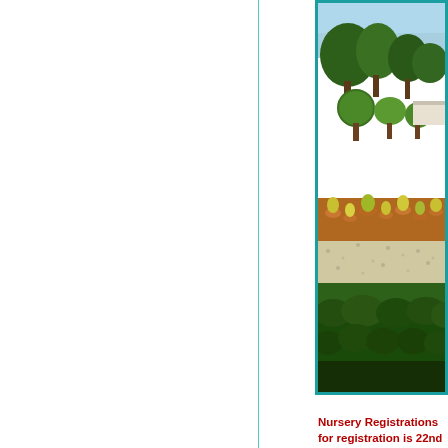[Figure (photo): A garden or school campus outdoor area with shaped ornamental trees (round topiary), green plants, flower beds with terracotta pots, a gravel path, and dense shrubs in the foreground. A white building structure is partially visible in the background.]
Nursery Registrations for registration is 22nd